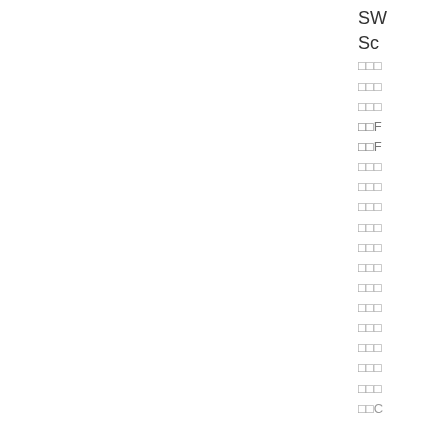SW
Sc
□□□
□□□
□□□
□□F
□□F
□□□
□□□
□□□
□□□
□□□
□□□
□□□
□□□
□□□
□□□
□□□
□□□
□□C